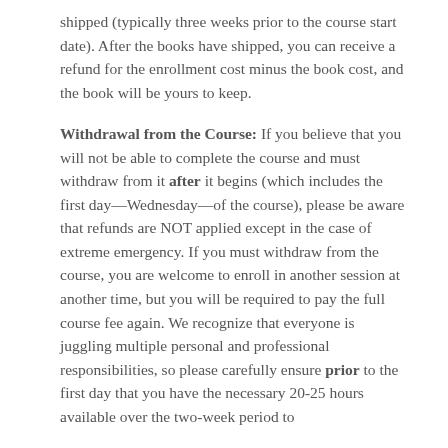shipped (typically three weeks prior to the course start date). After the books have shipped, you can receive a refund for the enrollment cost minus the book cost, and the book will be yours to keep.
Withdrawal from the Course: If you believe that you will not be able to complete the course and must withdraw from it after it begins (which includes the first day—Wednesday—of the course), please be aware that refunds are NOT applied except in the case of extreme emergency. If you must withdraw from the course, you are welcome to enroll in another session at another time, but you will be required to pay the full course fee again. We recognize that everyone is juggling multiple personal and professional responsibilities, so please carefully ensure prior to the first day that you have the necessary 20-25 hours available over the two-week period to